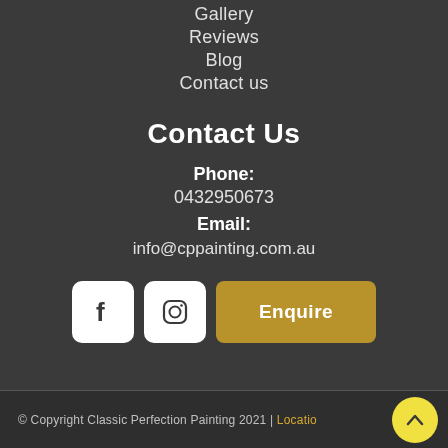Gallery
Reviews
Blog
Contact us
Contact Us
Phone:
0432950673
Email:
info@cppainting.com.au
[Figure (other): Facebook icon button (white rounded square), Instagram icon button (white rounded square), Enquire button (gold/brown rounded rectangle)]
© Copyright Classic Perfection Painting 2021 | Location